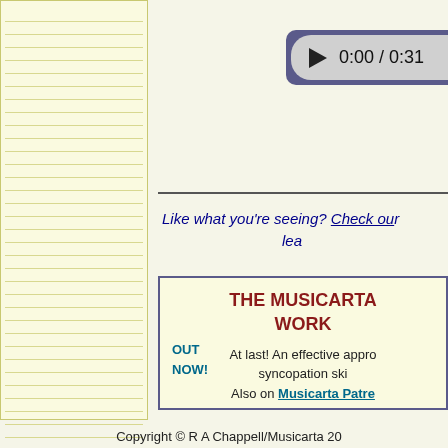[Figure (screenshot): Audio player UI showing play button, time 0:00 / 0:31, and volume control, with dark blue border]
Like what you're seeing? Check our lea...
THE MUSICARTA WORK... OUT NOW! At last! An effective appro... syncopation ski... Also on Musicarta Patre...
Copyright © R A Chappell/Musicarta 20...